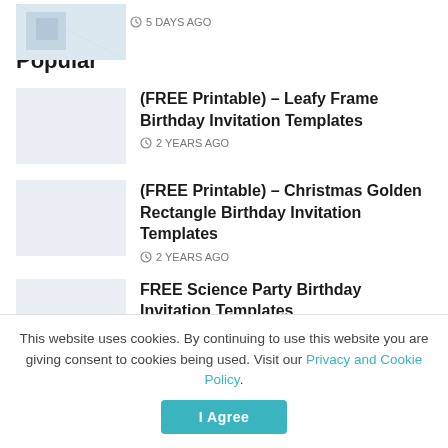[Figure (photo): Thumbnail image top item, partially visible]
5 DAYS AGO
Popular
[Figure (photo): Thumbnail for FREE Printable Leafy Frame Birthday Invitation Templates]
(FREE Printable) – Leafy Frame Birthday Invitation Templates
2 YEARS AGO
[Figure (photo): Thumbnail for FREE Printable Christmas Golden Rectangle Birthday Invitation Templates]
(FREE Printable) – Christmas Golden Rectangle Birthday Invitation Templates
2 YEARS AGO
[Figure (photo): Thumbnail for FREE Science Party Birthday Invitation Templates]
FREE Science Party Birthday Invitation Templates
This website uses cookies. By continuing to use this website you are giving consent to cookies being used. Visit our Privacy and Cookie Policy.